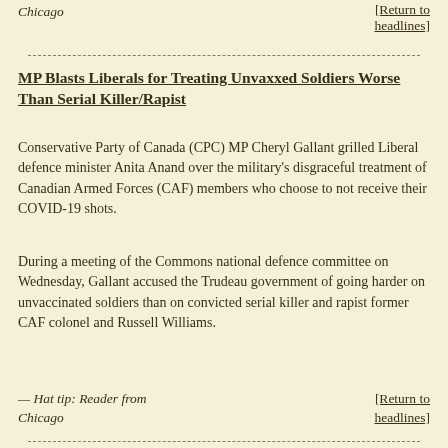Chicago
[Return to headlines]
MP Blasts Liberals for Treating Unvaxxed Soldiers Worse Than Serial Killer/Rapist
Conservative Party of Canada (CPC) MP Cheryl Gallant grilled Liberal defence minister Anita Anand over the military's disgraceful treatment of Canadian Armed Forces (CAF) members who choose to not receive their COVID-19 shots.
During a meeting of the Commons national defence committee on Wednesday, Gallant accused the Trudeau government of going harder on unvaccinated soldiers than on convicted serial killer and rapist former CAF colonel and Russell Williams.
— Hat tip: Reader from Chicago
[Return to headlines]